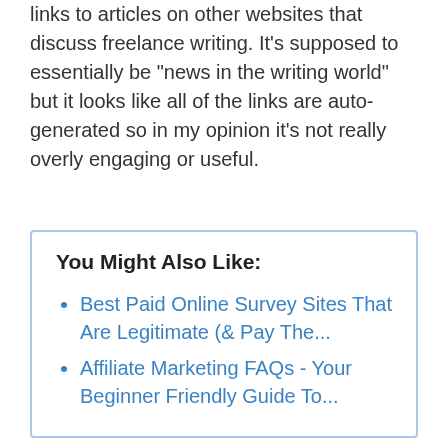links to articles on other websites that discuss freelance writing. It’s supposed to essentially be “news in the writing world” but it looks like all of the links are auto-generated so in my opinion it’s not really overly engaging or useful.
You Might Also Like:
Best Paid Online Survey Sites That Are Legitimate (& Pay The...
Affiliate Marketing FAQs - Your Beginner Friendly Guide To...